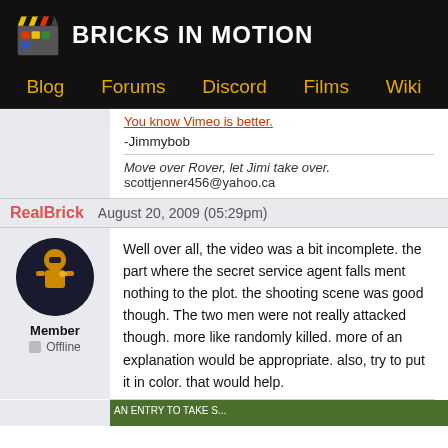BRICKS IN MOTION
Blog  Forums  Discord  Films  Wiki
You know Vimeo is better.
-Jimmybob

Move over Rover, let Jimi take over.
scottjenner456@yahoo.ca
RealBrick  August 20, 2009 (05:29pm)
Well over all, the video was a bit incomplete. the part where the secret service agent falls ment nothing to the plot. the shooting scene was good though. The two men were not really attacked though. more like randomly killed. more of an explanation would be appropriate. also, try to put it in color. that would help.